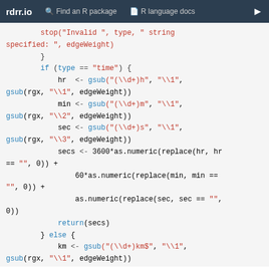rdrr.io   Find an R package   R language docs
[Figure (screenshot): R source code snippet showing a function that parses edge weights, handling 'time' and distance types using gsub and as.numeric.]